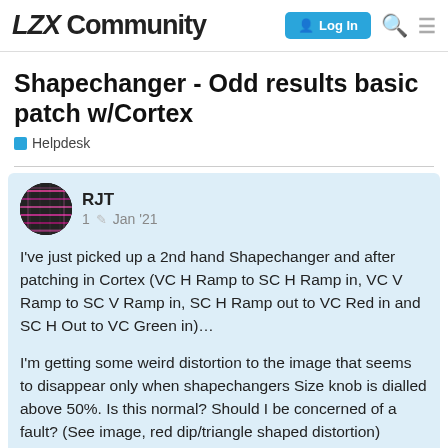LZX Community — Log In
Shapechanger - Odd results basic patch w/Cortex
Helpdesk
RJT  1  Jan '21
I've just picked up a 2nd hand Shapechanger and after patching in Cortex (VC H Ramp to SC H Ramp in, VC V Ramp to SC V Ramp in, SC H Ramp out to VC Red in and SC H Out to VC Green in)…
I'm getting some weird distortion to the image that seems to disappear only when shapechangers Size knob is dialled above 50%. Is this normal? Should I be concerned of a fault? (See image, red dip/triangle shaped distortion)
VC and SC are power isolated so no other
1 / 9